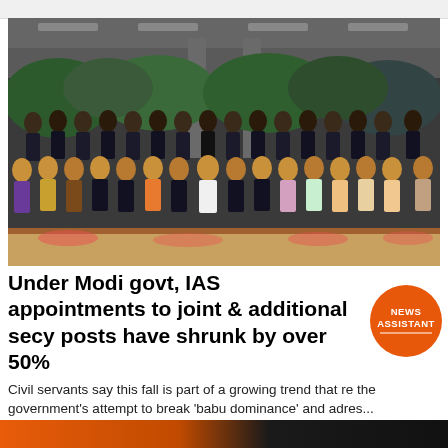[Figure (photo): Group photo of IAS officer trainees dressed in formal attire with ID badges, posed in multiple rows with Prime Minister Narendra Modi seated in the center front row, inside a large hall with green plants in the background.]
Under Modi govt, IAS appointments to joint & additional secy posts have shrunk by over 50%
Civil servants say this fall is part of a growing trend that re the government's attempt to break 'babu dominance' and adres...
ThePrint